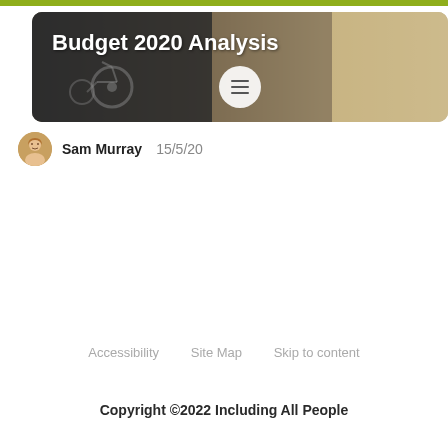[Figure (photo): Header banner image with dark background showing a wheelchair and a person, with title 'Budget 2020 Analysis' overlaid in white bold text and a circular menu button below]
Sam Murray  15/5/20
Accessibility   Site Map   Skip to content
Copyright ©2022 Including All People